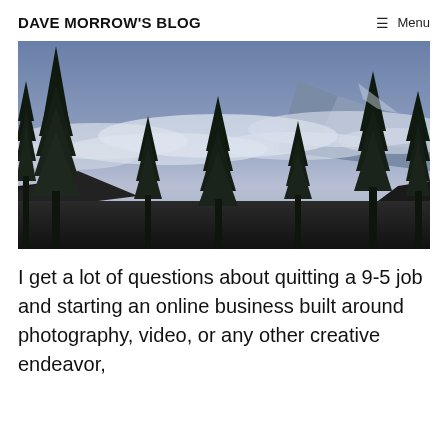DAVE MORROW'S BLOG
[Figure (photo): Landscape photograph of tall dark evergreen pine trees silhouetted against a misty blue-purple sky with rolling clouds below mountain peaks]
I get a lot of questions about quitting a 9-5 job and starting an online business built around photography, video, or any other creative endeavor,